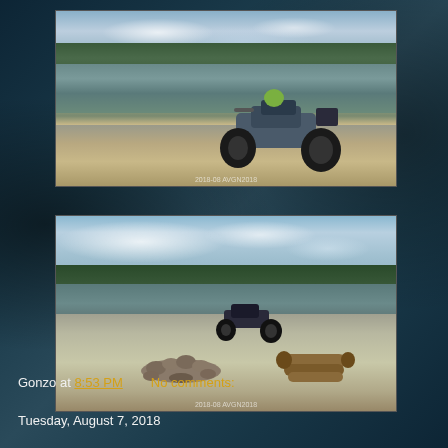[Figure (photo): ATV (four-wheeler) parked on a sandy shore beside a calm lake surrounded by forest, overcast sky. Photo has watermark at bottom.]
[Figure (photo): Wide lakeside scene with an ATV parked near the water, a stone fire ring and stacked logs on a sandy beach, forest and lake in background, overcast sky. Photo has watermark at bottom.]
Gonzo at 8:53 PM      No comments:
Tuesday, August 7, 2018